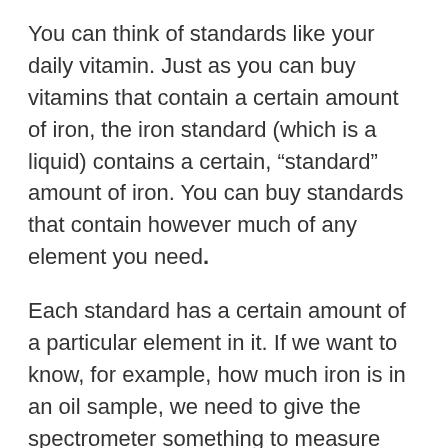You can think of standards like your daily vitamin. Just as you can buy vitamins that contain a certain amount of iron, the iron standard (which is a liquid) contains a certain, “standard” amount of iron. You can buy standards that contain however much of any element you need.
Each standard has a certain amount of a particular element in it. If we want to know, for example, how much iron is in an oil sample, we need to give the spectrometer something to measure against. This allows it to know how many vibrations to count to determine how much iron is present. The first standard we use is a blank — that is, a zero standard — that has no iron in it. At the iron slit in the aperture plate, the photomultiplier tube vibrates at a certain rate per second. Then it remembers that